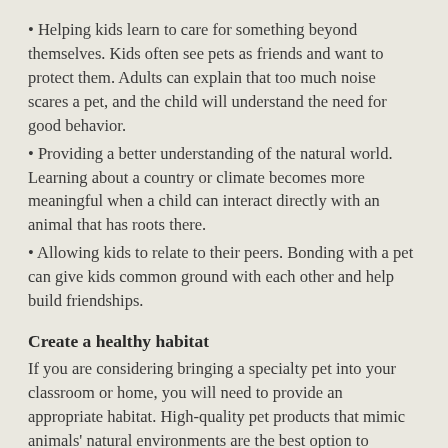Helping kids learn to care for something beyond themselves. Kids often see pets as friends and want to protect them. Adults can explain that too much noise scares a pet, and the child will understand the need for good behavior.
Providing a better understanding of the natural world. Learning about a country or climate becomes more meaningful when a child can interact directly with an animal that has roots there.
Allowing kids to relate to their peers. Bonding with a pet can give kids common ground with each other and help build friendships.
Create a healthy habitat
If you are considering bringing a specialty pet into your classroom or home, you will need to provide an appropriate habitat. High-quality pet products that mimic animals' natural environments are the best option to support pet health. Such environments can also spark the curiosity of children into the world of specialty pets with products that represent their